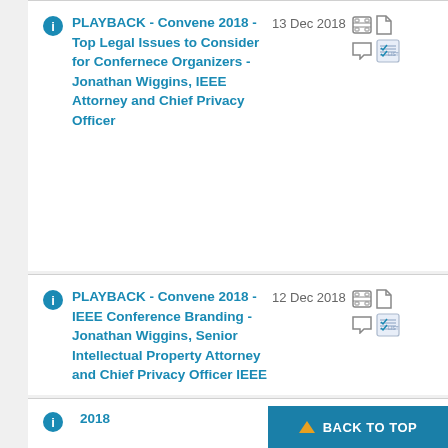PLAYBACK - Convene 2018 - Top Legal Issues to Consider for Confernece Organizers - Jonathan Wiggins, IEEE Attorney and Chief Privacy Officer
PLAYBACK - Convene 2018 - IEEE Conference Branding - Jonathan Wiggins, Senior Intellectual Property Attorney and Chief Privacy Officer IEEE
2018